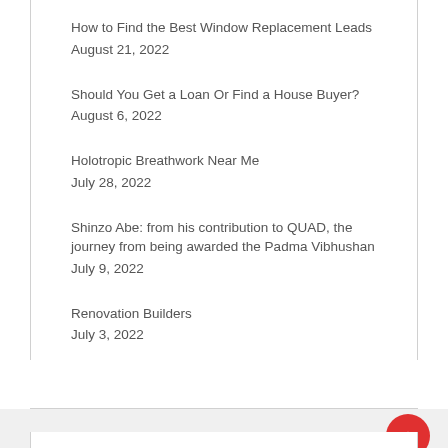How to Find the Best Window Replacement Leads
August 21, 2022
Should You Get a Loan Or Find a House Buyer?
August 6, 2022
Holotropic Breathwork Near Me
July 28, 2022
Shinzo Abe: from his contribution to QUAD, the journey from being awarded the Padma Vibhushan
July 9, 2022
Renovation Builders
July 3, 2022